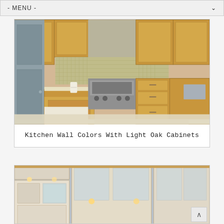- MENU -
[Figure (photo): Kitchen interior with light oak wood cabinets, stainless steel range and hood, mosaic tile backsplash, marble granite countertop, and a gray door on the left.]
Kitchen Wall Colors With Light Oak Cabinets
[Figure (photo): Kitchen upper and lower cabinets with frosted glass door panels, cream/white finish with light oak trim, and under-cabinet lighting.]